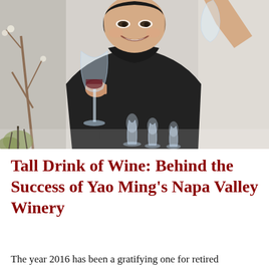[Figure (photo): A smiling Asian man in a dark polo shirt holding a wine glass, examining it. Other wine glasses are visible on the table in front of him. Background shows a light-colored interior.]
Tall Drink of Wine: Behind the Success of Yao Ming's Napa Valley Winery
The year 2016 has been a gratifying one for retired